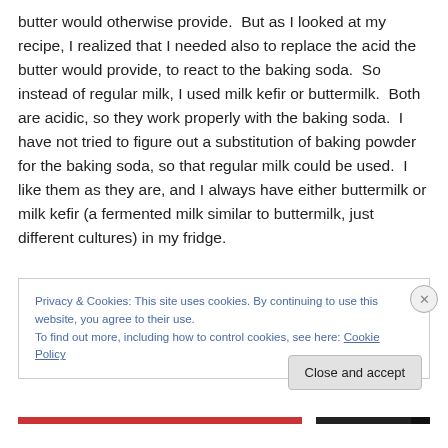butter would otherwise provide.  But as I looked at my recipe, I realized that I needed also to replace the acid the butter would provide, to react to the baking soda.  So instead of regular milk, I used milk kefir or buttermilk.  Both are acidic, so they work properly with the baking soda.  I have not tried to figure out a substitution of baking powder for the baking soda, so that regular milk could be used.  I like them as they are, and I always have either buttermilk or milk kefir (a fermented milk similar to buttermilk, just different cultures) in my fridge.
Privacy & Cookies: This site uses cookies. By continuing to use this website, you agree to their use.
To find out more, including how to control cookies, see here: Cookie Policy
Close and accept